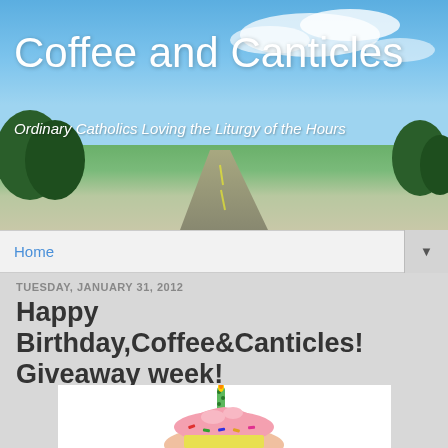[Figure (photo): Blog header banner with blue sky, clouds, road stretching into distance, green trees on sides]
Coffee and Canticles
Ordinary Catholics Loving the Liturgy of the Hours
Home ▼
TUESDAY, JANUARY 31, 2012
Happy Birthday,Coffee&Canticles! Giveaway week!
[Figure (photo): Hand holding a cupcake with pink frosting, colorful sprinkles, and a lit green polka-dot birthday candle]